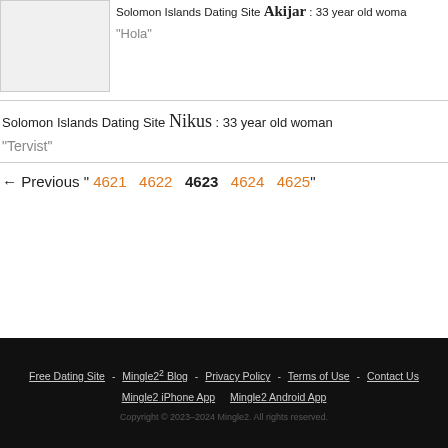Solomon Islands Dating Site Akijar : 33 year old woman
"Hola"
Solomon Islands Dating Site Nikus : 33 year old woman
"Tervist"
← Previous " 4621 4622 4623 4624 4625 "
Free Dating Site - Mingle2 Blog - Privacy Policy - Terms of Use - Contact Us   Mingle2 iPhone App   Mingle2 Android App